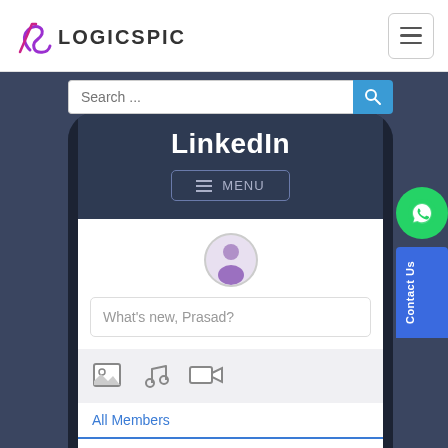LOGICSPICE
[Figure (screenshot): Mobile phone mockup showing a LinkedIn clone app interface built by Logicspice. The screen shows a LinkedIn title at the top, a MENU button, a post area with a user avatar and 'What's new, Prasad?' placeholder, media icon buttons (image, music, video), and member tabs: All Members, Following 2, My Friends.]
LinkedIn
MENU
What's new, Prasad?
All Members
Following  2
My Friends